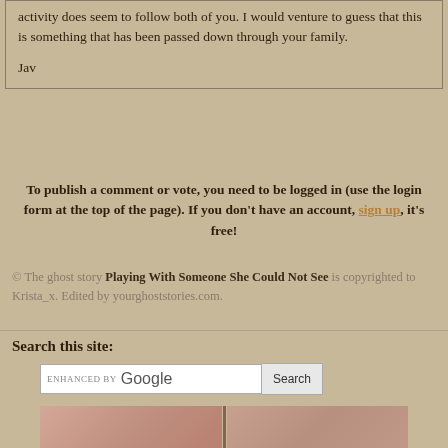activity does seem to follow both of you. I would venture to guess that this is something that has been passed down through your family.

Jav
To publish a comment or vote, you need to be logged in (use the login form at the top of the page). If you don't have an account, sign up, it's free!
© The ghost story Playing With Someone She Could Not See is copyrighted to Krista_x. Edited by yourghoststories.com.
Search this site:
[Figure (screenshot): Google search bar with 'ENHANCED BY Google' text and a Search button]
[Figure (photo): Two adjacent pinkish-tan panels separated by a dark vertical divider, visible at bottom of page]